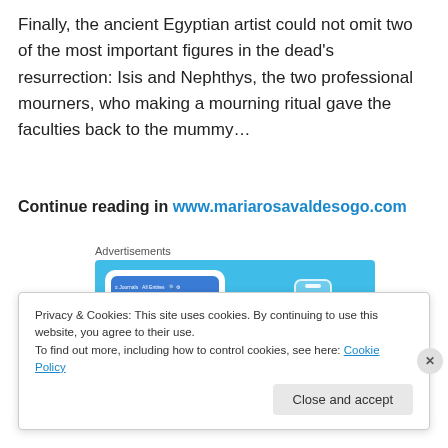Finally, the ancient Egyptian artist could not omit two of the most important figures in the dead's resurrection: Isis and Nephthys, the two professional mourners, who making a mourning ritual gave the faculties back to the mummy…
Continue reading in www.mariarosavaldesogo.com
Advertisements
[Figure (screenshot): Advertisement banner for Day One journal app showing a phone screenshot and the Day One logo on a blue background with tagline 'Your Journal']
Privacy & Cookies: This site uses cookies. By continuing to use this website, you agree to their use.
To find out more, including how to control cookies, see here: Cookie Policy